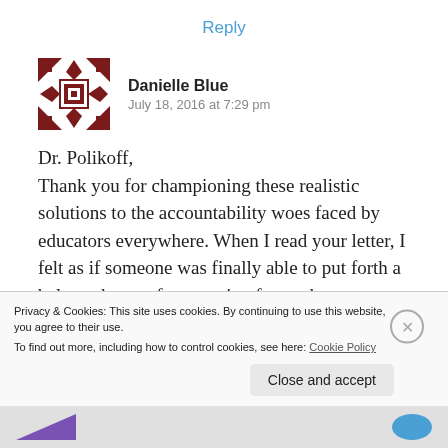Reply
[Figure (illustration): Red and white geometric avatar icon with diamond/square pattern]
Danielle Blue
July 18, 2016 at 7:29 pm
Dr. Polikoff,
Thank you for championing these realistic solutions to the accountability woes faced by educators everywhere. When I read your letter, I felt as if someone was finally able to put forth a balanced way of accounting for student
Privacy & Cookies: This site uses cookies. By continuing to use this website, you agree to their use.
To find out more, including how to control cookies, see here: Cookie Policy
Close and accept